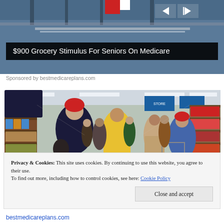[Figure (photo): Advertisement banner image showing a store interior scene with navigation controls. Dark background with blue/grey tones suggesting a retail environment.]
$900 Grocery Stimulus For Seniors On Medicare
Sponsored by bestmedicareplans.com
[Figure (photo): Photograph of shoppers in a grocery store aisle. Several people including seniors wearing colorful winter coats and hats (red, yellow, blue) pushing shopping carts through a busy supermarket with shelves of products on both sides and fluorescent lighting overhead.]
Privacy & Cookies: This site uses cookies. By continuing to use this website, you agree to their use.
To find out more, including how to control cookies, see here: Cookie Policy
Close and accept
bestmedicareplans.com